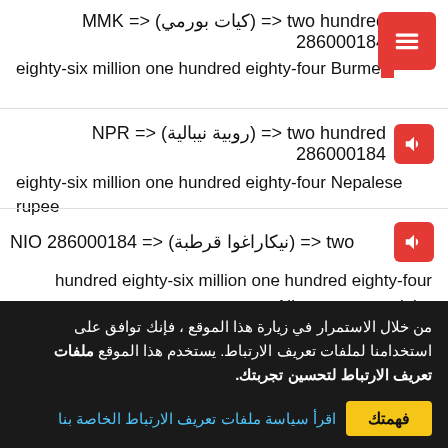286000184 MMK <= (كيات بورمي) <= two hundred eighty-six million one hundred eighty-four Burmese kyat
286000184 NPR <= (روبية نيبالية) <= two hundred eighty-six million one hundred eighty-four Nepalese rupee
286000184 NIO <= (نيكاراغوا قرطبة) <= two hundred eighty-six million one hundred eighty-four Nicaraguan cordoba
من خلال الاستمرار في زيارة هذا الموقع ، فإنك توافق على استخدامنا لملفات تعريف الارتباط. يستخدم هذا الموقع ملفات تعريف الارتباط لتحسين تجربتك.
اقرأ سياسة ملفات تعريف الارتباط الخاصة بنا
فهمتك